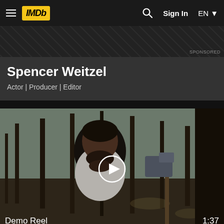IMDb | Sign In | EN
[Figure (other): Diagonal striped dark banner with SPONSORED label]
Spencer Weitzel
Actor | Producer | Editor
[Figure (photo): Video thumbnail of a man in a forest holding an axe, with a play button overlay. Label: Demo Reel, Duration: 1:37]